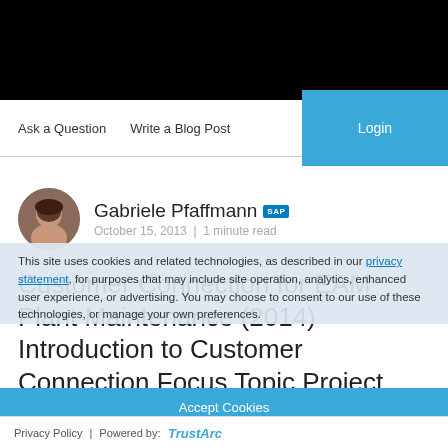[Figure (other): Top black navigation bar]
Ask a Question   Write a Blog Post   Login
[Figure (photo): Circular avatar photo of Gabriele Pfaffmann]
Gabriele Pfaffmann SAP
October 15, 2013  |  1 minute read
This site uses cookies and related technologies, as described in our privacy statement, for purposes that may include site operation, analytics, enhanced user experience, or advertising. You may choose to consent to our use of these technologies, or manage your own preferences.
Customer Connection for EAM Plant Maintenance (2014) Introduction to Customer Connection Focus Topic Project
Accept Cookies
More Information
Privacy Policy | Powered by: TrustArc